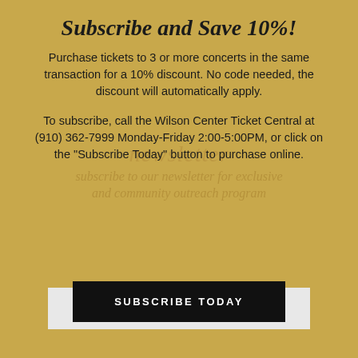Subscribe and Save 10%!
Purchase tickets to 3 or more concerts in the same transaction for a 10% discount. No code needed, the discount will automatically apply.
To subscribe, call the Wilson Center Ticket Central at (910) 362-7999 Monday-Friday 2:00-5:00PM, or click on the "Subscribe Today" button to purchase online.
SUBSCRIBE TODAY
Subscribe